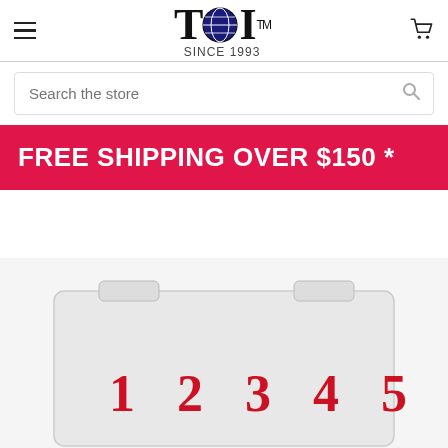TDI™ SINCE 1993
Search the store
FREE SHIPPING OVER $150 *
[Figure (photo): A white plastic storage/index card case with numbered tabs showing 1, 2, 3, 4, 5 in red serif font, partially visible at bottom of page.]